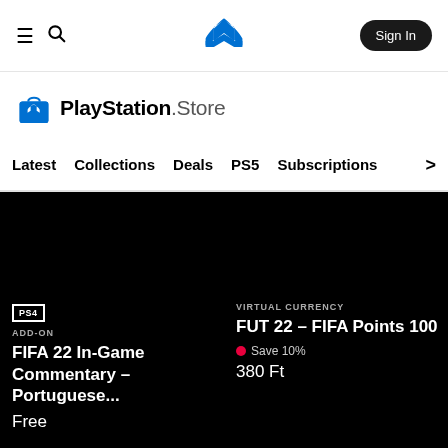Navigation bar with hamburger menu, search icon, PlayStation logo, and Sign In button
[Figure (logo): PlayStation Store logo with shopping bag icon and text 'PlayStation.Store']
Latest
Collections
Deals
PS5
Subscriptions
PS4
ADD-ON
FIFA 22 In-Game Commentary – Portuguese...
Free
VIRTUAL CURRENCY
FUT 22 – FIFA Points 100
Save 10%
380 Ft